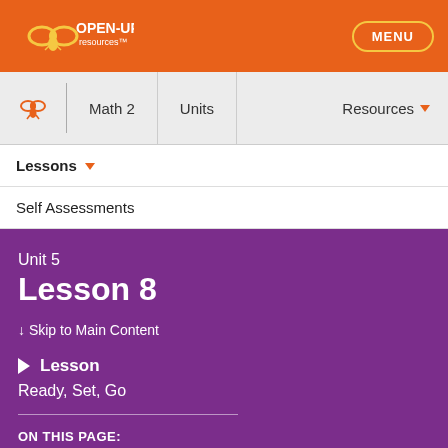OPEN-UP resources MENU
Math 2 | Units | Resources
Lessons
Self Assessments
Unit 5
Lesson 8
↓ Skip to Main Content
Lesson
Ready, Set, Go
ON THIS PAGE: